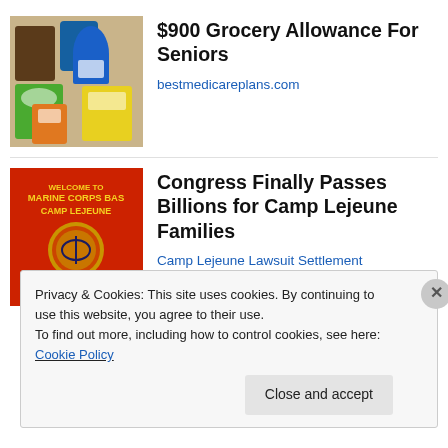[Figure (photo): Photo of grocery products including Cottonelle, Purex, peanut butter, and other grocery items arranged together]
$900 Grocery Allowance For Seniors
bestmedicareplans.com
[Figure (photo): Welcome to Marine Corps Base Camp Lejeune sign with military insignia on red background]
Congress Finally Passes Billions for Camp Lejeune Families
Camp Lejeune Lawsuit Settlement
Privacy & Cookies: This site uses cookies. By continuing to use this website, you agree to their use.
To find out more, including how to control cookies, see here: Cookie Policy
Close and accept